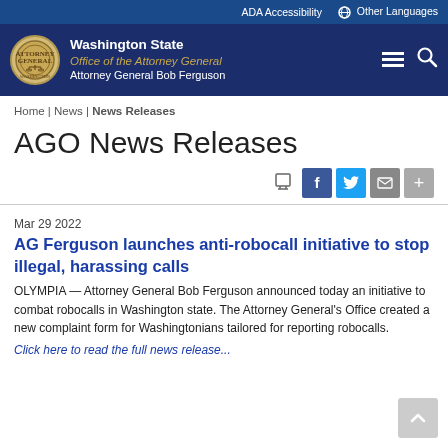ADA Accessibility | Other Languages
[Figure (logo): Washington State Office of the Attorney General logo — circular seal with scales of justice, gold/tan colors]
Washington State
Office of the Attorney General
Attorney General Bob Ferguson
Home | News | News Releases
AGO News Releases
Mar 29 2022
AG Ferguson launches anti-robocall initiative to stop illegal, harassing calls
OLYMPIA — Attorney General Bob Ferguson announced today an initiative to combat robocalls in Washington state. The Attorney General's Office created a new complaint form for Washingtonians tailored for reporting robocalls.
Click here to read the full news release...